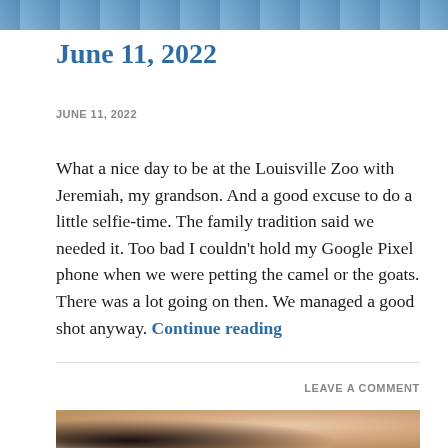[Figure (photo): Top portion of a photo showing an outdoor scene, cropped at top of page]
June 11, 2022
JUNE 11, 2022
What a nice day to be at the Louisville Zoo with Jeremiah, my grandson. And a good excuse to do a little selfie-time. The family tradition said we needed it. Too bad I couldn't hold my Google Pixel phone when we were petting the camel or the goats. There was a lot going on then. We managed a good shot anyway. Continue reading
LEAVE A COMMENT
[Figure (photo): Bottom portion of a photo showing a person with curly hair, cropped at bottom of page]